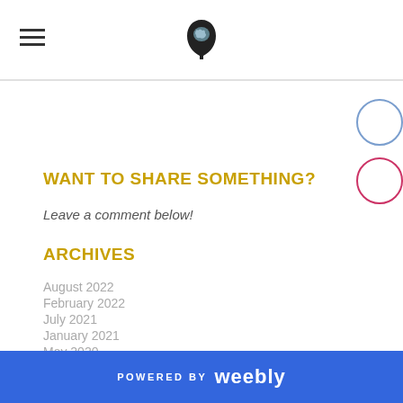WANT TO SHARE SOMETHING?
Leave a comment below!
ARCHIVES
August 2022
February 2022
July 2021
January 2021
May 2020
April 2020
POWERED BY weebly